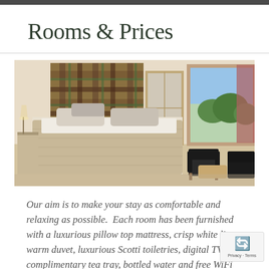Rooms & Prices
[Figure (photo): Hotel bedroom with tartan plaid headboard, white bedding, bedside lamp, and two dark leather armchairs near large windows with countryside view]
Our aim is to make your stay as comfortable and relaxing as possible.  Each room has been furnished with a luxurious pillow top mattress, crisp white linen, warm duvet, luxurious Scotti toiletries, digital TV, complimentary tea tray, bottled water and free WiFi that all add to a